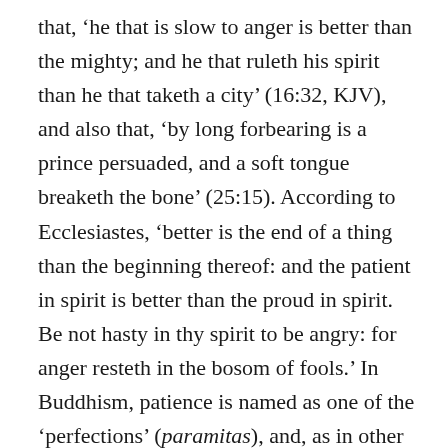that, 'he that is slow to anger is better than the mighty; and he that ruleth his spirit than he that taketh a city' (16:32, KJV), and also that, 'by long forbearing is a prince persuaded, and a soft tongue breaketh the bone' (25:15). According to Ecclesiastes, 'better is the end of a thing than the beginning thereof: and the patient in spirit is better than the proud in spirit. Be not hasty in thy spirit to be angry: for anger resteth in the bosom of fools.' In Buddhism, patience is named as one of the 'perfections' (paramitas), and, as in other religious traditions, extends to not returning harm. Thus, Paul's First Epistle to the